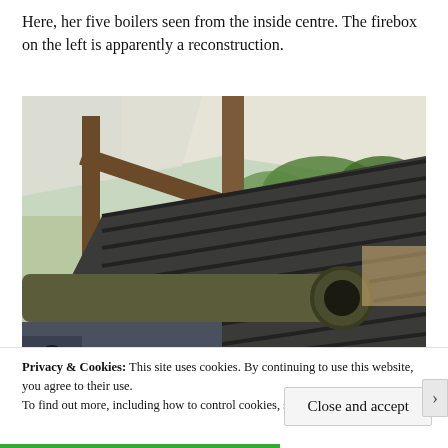Here, her five boilers seen from the inside centre. The firebox on the left is apparently a reconstruction.
[Figure (photo): Outdoor photograph showing industrial machinery including a large cannon barrel in the foreground and ribbed metal boiler structure behind it, under a tensile fabric canopy, with green parkland visible in the background.]
Privacy & Cookies: This site uses cookies. By continuing to use this website, you agree to their use. To find out more, including how to control cookies, see here: Cookie Policy